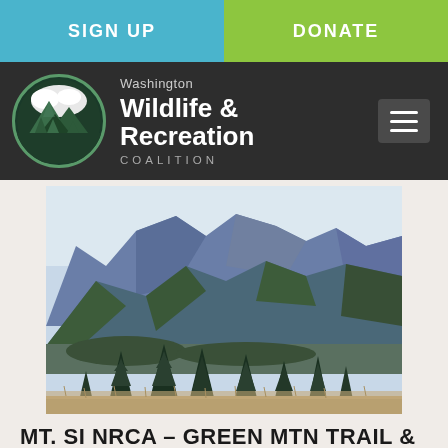SIGN UP
DONATE
[Figure (logo): Washington Wildlife & Recreation Coalition logo with circular mountain/tree emblem, white text on dark background, hamburger menu icon]
[Figure (photo): Mountain landscape photo showing rugged blue mountain ridges with evergreen trees (fir/spruce) in the foreground and dry grassy meadow — Mt. Si NRCA area near Green Mountain Trail]
MT. SI NRCA – GREEN MTN TRAIL & CCC TRAIL BRIDGES